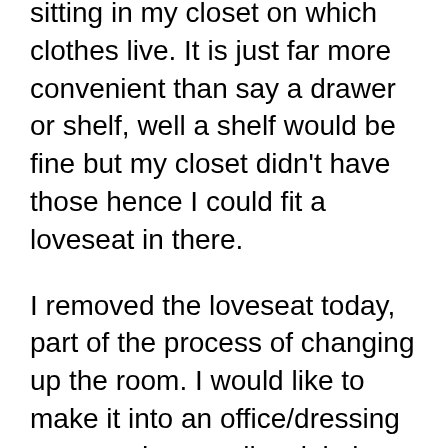sitting in my closet on which clothes live. It is just far more convenient than say a drawer or shelf, well a shelf would be fine but my closet didn't have those hence I could fit a loveseat in there.
I removed the loveseat today, part of the process of changing up the room. I would like to make it into an office/dressing room and generally minimize the stuff that has accumulated in there.
During this transformation though, where am I supposed to put my clothes? I can't just keep using the loveseat which is currently in the